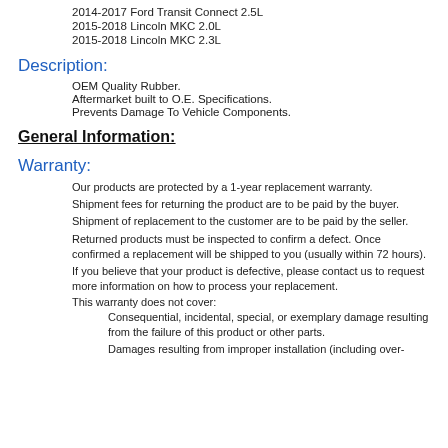2014-2017 Ford Transit Connect 2.5L
2015-2018 Lincoln MKC 2.0L
2015-2018 Lincoln MKC 2.3L
Description:
OEM Quality Rubber.
Aftermarket built to O.E. Specifications.
Prevents Damage To Vehicle Components.
General Information:
Warranty:
Our products are protected by a 1-year replacement warranty.
Shipment fees for returning the product are to be paid by the buyer.
Shipment of replacement to the customer are to be paid by the seller.
Returned products must be inspected to confirm a defect. Once confirmed a replacement will be shipped to you (usually within 72 hours).
If you believe that your product is defective, please contact us to request more information on how to process your replacement.
This warranty does not cover:
Consequential, incidental, special, or exemplary damage resulting from the failure of this product or other parts.
Damages resulting from improper installation (including over-